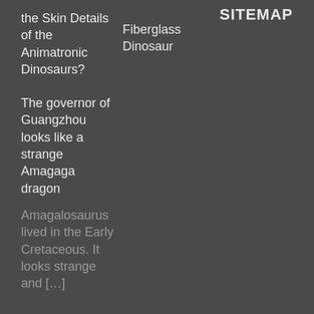SITEMAP
the Skin Details of the Animatronic Dinosaurs?
Fiberglass Dinosaur
The governor of Guangzhou looks like a strange Amagaga dragon
Amagalosaurus lived in the Early Cretaceous. It looks strange and […]